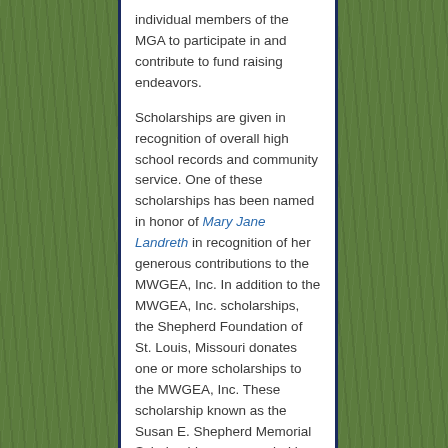individual members of the MGA to participate in and contribute to fund raising endeavors.

Scholarships are given in recognition of overall high school records and community service. One of these scholarships has been named in honor of Mary Jane Landreth in recognition of her generous contributions to the MWGEA, Inc. In addition to the MWGEA, Inc. scholarships, the Shepherd Foundation of St. Louis, Missouri donates one or more scholarships to the MWGEA, Inc. These scholarship known as the Susan E. Shepherd Memorial Scholarships are awarded by the MWGEA, Inc.